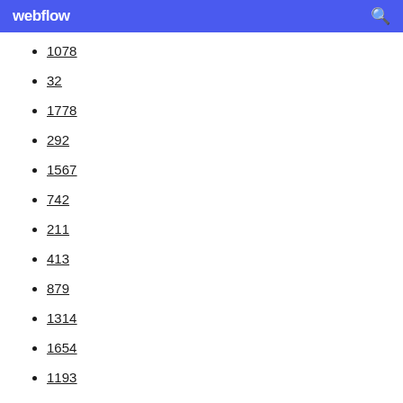webflow
1078
32
1778
292
1567
742
211
413
879
1314
1654
1193
1368